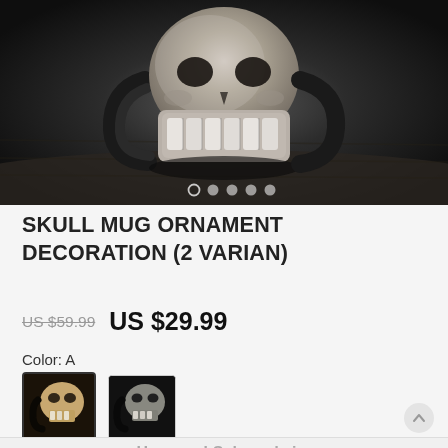[Figure (photo): Black and white photo of a skull mug ornament on a dark wooden surface. A carousel with 5 navigation dots is overlaid at the bottom of the image.]
SKULL MUG ORNAMENT DECORATION (2 VARIAN)
US $59.99  US $29.99
Color: A
[Figure (photo): Two skull mug color variant swatches. Swatch A (selected, with border) shows a skull mug with warm/tan coloring. Swatch B shows a darker skull mug.]
Hurry up! Sale ends in: